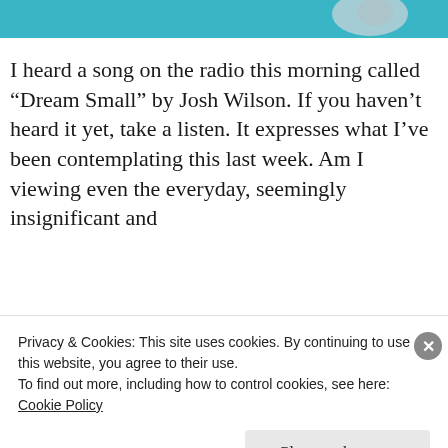[Figure (photo): Partial photo at top of page showing teal/blue background with a light grey circular object on the right side]
I heard a song on the radio this morning called “Dream Small” by Josh Wilson. If you haven’t heard it yet, take a listen. It expresses what I’ve been contemplating this last week. Am I viewing even the everyday, seemingly insignificant and
Privacy & Cookies: This site uses cookies. By continuing to use this website, you agree to their use.
To find out more, including how to control cookies, see here: Cookie Policy
Close and accept
NEXT: THIS &